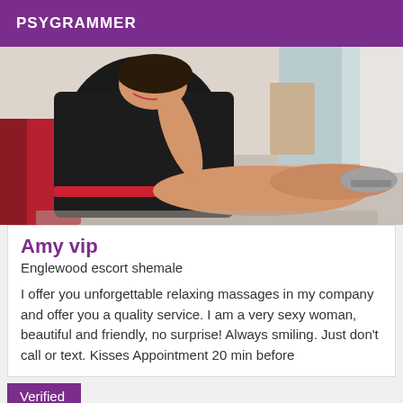PSYGRAMMER
[Figure (photo): A woman in a black dress with red trim lying on a light wooden floor, leaning against a wall, with legs extended and wearing heels.]
Amy vip
Englewood escort shemale
I offer you unforgettable relaxing massages in my company and offer you a quality service. I am a very sexy woman, beautiful and friendly, no surprise! Always smiling. Just don't call or text. Kisses Appointment 20 min before
Verified